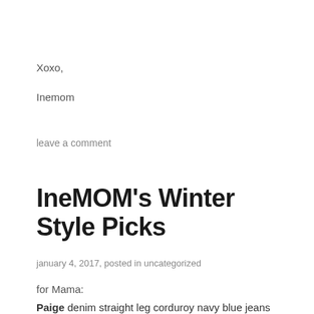Xoxo,
Inemom
leave a comment
IneMOM's Winter Style Picks
january 4, 2017, posted in uncategorized
for Mama:
Paige denim straight leg corduroy navy blue jeans